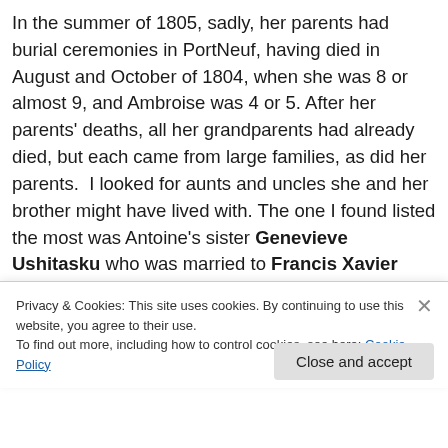In the summer of 1805, sadly, her parents had burial ceremonies in PortNeuf, having died in August and October of 1804, when she was 8 or almost 9, and Ambroise was 4 or 5. After her parents' deaths, all her grandparents had already died, but each came from large families, as did her parents.  I looked for aunts and uncles she and her brother might have lived with. The one I found listed the most was Antoine's sister Genevieve Ushitasku who was married to Francis Xavier Uabushuian. They are in the
Privacy & Cookies: This site uses cookies. By continuing to use this website, you agree to their use.
To find out more, including how to control cookies, see here: Cookie Policy
Close and accept